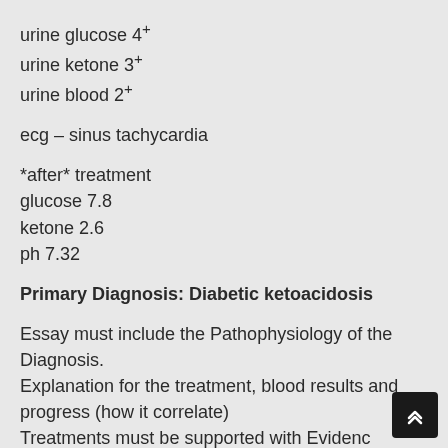urine glucose 4+
urine ketone 3+
urine blood 2+
ecg – sinus tachycardia
*after* treatment
glucose 7.8
ketone 2.6
ph 7.32
Primary Diagnosis: Diabetic ketoacidosis
Essay must include the Pathophysiology of the Diagnosis.
Explanation for the treatment, blood results and progress (how it correlate)
Treatments must be supported with Evidence Based literature...